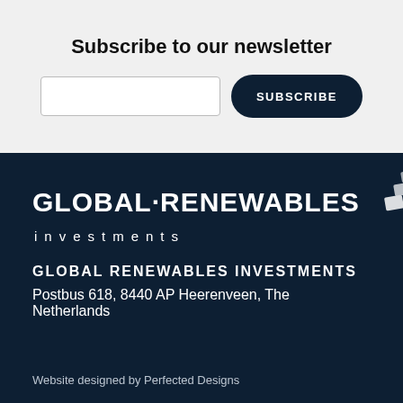Subscribe to our newsletter
[Figure (other): Email input field and SUBSCRIBE button]
[Figure (logo): Global Renewables Investments logo with solar panel icon graphic]
GLOBAL RENEWABLES INVESTMENTS
Postbus 618, 8440 AP Heerenveen, The Netherlands
Website designed by Perfected Designs